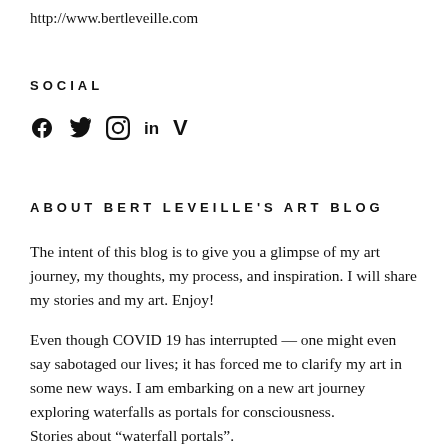http://www.bertleveille.com
SOCIAL
[Figure (other): Social media icons: Facebook, Twitter, Instagram, LinkedIn, Vimeo]
ABOUT BERT LEVEILLE'S ART BLOG
The intent of this blog is to give you a glimpse of my art journey, my thoughts, my process, and inspiration. I will share my stories and my art. Enjoy!
Even though COVID 19 has interrupted — one might even say sabotaged our lives; it has forced me to clarify my art in some new ways. I am embarking on a new art journey exploring waterfalls as portals for consciousness.
Stories about “waterfall portals”.